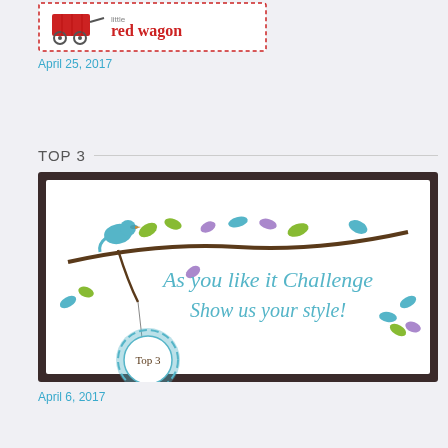[Figure (logo): Little Red Wagon logo: red wagon illustration with red dotted border and text 'little red wagon' in red]
April 25, 2017
TOP 3
[Figure (illustration): As you like it Challenge badge: decorative illustration with bird on tree branch with colorful leaves, and a circular badge saying 'Top 3'. Text reads 'As you like it Challenge Show us your style!']
April 6, 2017